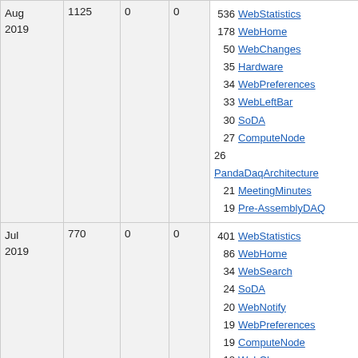| Month | Views | Saves | Attachments | Top pages |
| --- | --- | --- | --- | --- |
| Aug 2019 | 1125 | 0 | 0 | 536 WebStatistics
178 WebHome
50 WebChanges
35 Hardware
34 WebPreferences
33 WebLeftBar
30 SoDA
27 ComputeNode
26 PandaDaqArchitecture
21 MeetingMinutes
19 Pre-AssemblyDAQ |
| Jul 2019 | 770 | 0 | 0 | 401 WebStatistics
86 WebHome
34 WebSearch
24 SoDA
20 WebNotify
19 WebPreferences
19 ComputeNode
18 WebChanges
16 WebLeftBar
16 Hardware
14 WebIndex |